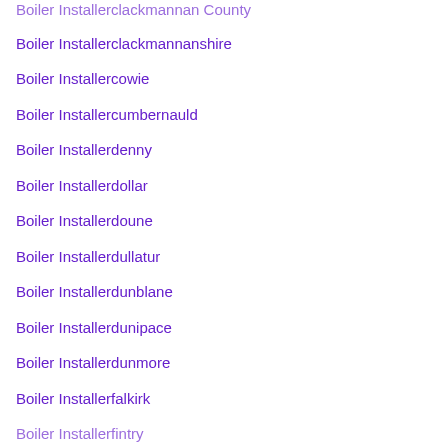Boiler Installerclackmannan County
Boiler Installerclackmannanshire
Boiler Installercowie
Boiler Installercumbernauld
Boiler Installerdenny
Boiler Installerdollar
Boiler Installerdoune
Boiler Installerdullatur
Boiler Installerdunblane
Boiler Installerdunipace
Boiler Installerdunmore
Boiler Installerfalkirk
Boiler Installerfintry